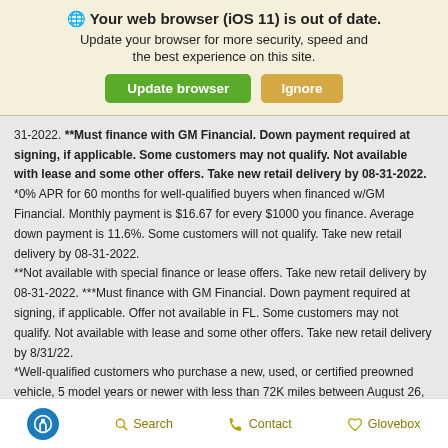[Figure (screenshot): Browser out-of-date warning banner with globe icon, title, subtitle, and two buttons: Update browser (green) and Ignore (gold/orange)]
31-2022. **Must finance with GM Financial. Down payment required at signing, if applicable. Some customers may not qualify. Not available with lease and some other offers. Take new retail delivery by 08-31-2022.
*0% APR for 60 months for well-qualified buyers when financed w/GM Financial. Monthly payment is $16.67 for every $1000 you finance. Average down payment is 11.6%. Some customers will not qualify. Take new retail delivery by 08-31-2022.
**Not available with special finance or lease offers. Take new retail delivery by 08-31-2022. ***Must finance with GM Financial. Down payment required at signing, if applicable. Offer not available in FL. Some customers may not qualify. Not available with lease and some other offers. Take new retail delivery by 8/31/22.
*Well-qualified customers who purchase a new, used, or certified preowned vehicle, 5 model years or newer with less than 72K miles between August 26, 2022 and
Accessibility  Search  Contact  Glovebox